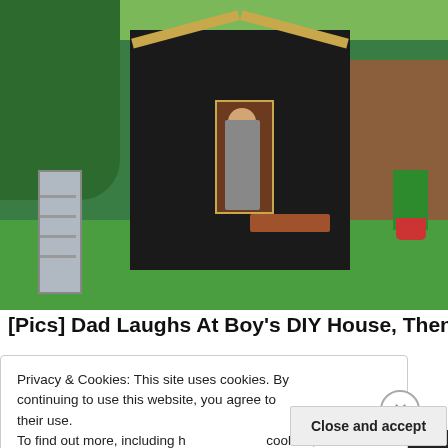[Figure (photo): A boy standing in the doorway of a small DIY house/shed covered in black tarpaulin in a backyard, with green trees, a wooden fence, a ladder to the left, and a red plant pot to the right.]
[Pics] Dad Laughs At Boy's DIY House, Then
Privacy & Cookies: This site uses cookies. By continuing to use this website, you agree to their use.
To find out more, including h... cookies, see here: Cookie Po...
Close and accept